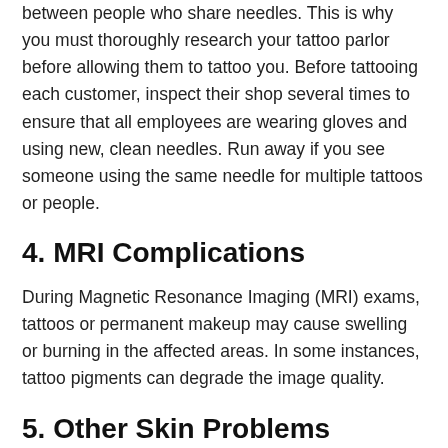between people who share needles. This is why you must thoroughly research your tattoo parlor before allowing them to tattoo you. Before tattooing each customer, inspect their shop several times to ensure that all employees are wearing gloves and using new, clean needles. Run away if you see someone using the same needle for multiple tattoos or people.
4. MRI Complications
During Magnetic Resonance Imaging (MRI) exams, tattoos or permanent makeup may cause swelling or burning in the affected areas. In some instances, tattoo pigments can degrade the image quality.
5. Other Skin Problems
A granuloma is a type of inflammation that can form